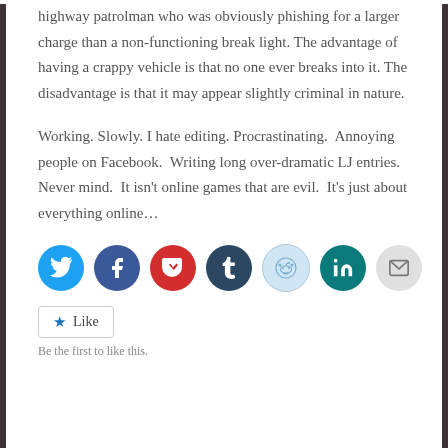highway patrolman who was obviously phishing for a larger charge than a non-functioning break light. The advantage of having a crappy vehicle is that no one ever breaks into it. The disadvantage is that it may appear slightly criminal in nature.
Working. Slowly. I hate editing. Procrastinating.  Annoying people on Facebook.  Writing long over-dramatic LJ entries.  Never mind.  It isn't online games that are evil.  It's just about everything online…
[Figure (infographic): Row of seven circular social sharing icons: Twitter (cyan), Facebook (blue), Pocket (red), Tumblr (dark navy), Reddit (light blue/gray), LinkedIn (teal), Email (gray)]
Like
Be the first to like this.